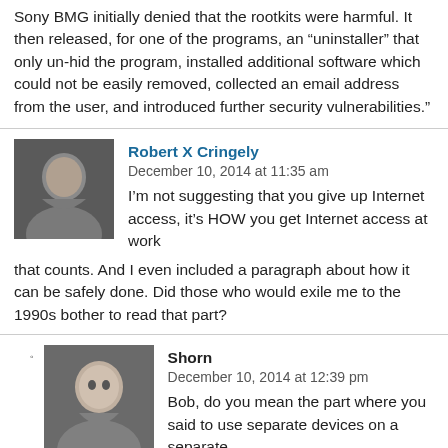Sony BMG initially denied that the rootkits were harmful. It then released, for one of the programs, an “uninstaller” that only un-hid the program, installed additional software which could not be easily removed, collected an email address from the user, and introduced further security vulnerabilities.”
Robert X Cringely  December 10, 2014 at 11:35 am
I’m not suggesting that you give up Internet access, it’s HOW you get Internet access at work that counts. And I even included a paragraph about how it can be safely done. Did those who would exile me to the 1990s bother to read that part?
Shorn  December 10, 2014 at 12:39 pm
Bob, do you mean the part where you said to use separate devices on a separate network? That’s still 1990’s thinking. Maybe even